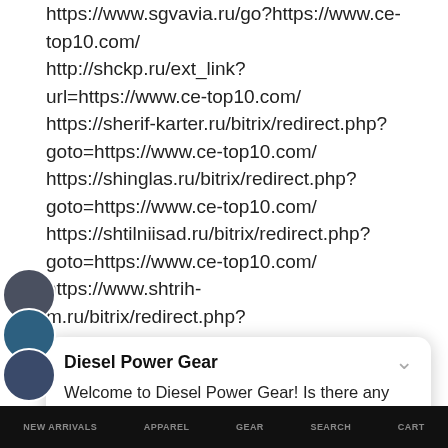https://www.sgvavia.ru/go?https://www.ce-top10.com/ http://shckp.ru/ext_link?url=https://www.ce-top10.com/ https://sherif-karter.ru/bitrix/redirect.php?goto=https://www.ce-top10.com/ https://shinglas.ru/bitrix/redirect.php?goto=https://www.ce-top10.com/ https://shtilniisad.ru/bitrix/redirect.php?goto=https://www.ce-top10.com/ https://www.shtrih-m.ru/bitrix/redirect.php?goto=https://www.ce-top10.com/ https://www.sibpsa.ru/bitrix/redirect.php?
Diesel Power Gear
Welcome to Diesel Power Gear! Is there any thing we can help you with?
NEW ARRIVALS   APPAREL   GEAR   SEARCH   CART